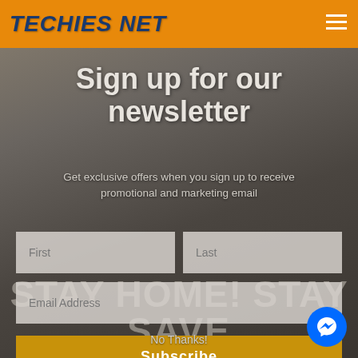TECHIES NET
Sign up for our newsletter
Get exclusive offers when you sign up to receive promotional and marketing email
First
Last
Email Address
[Figure (infographic): Watermark text reading STAY HOME! STAY SAVE overlaid on the background]
Subscribe
No Thanks!